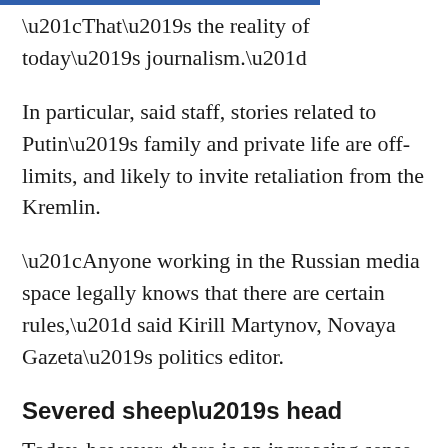“That’s the reality of today’s journalism.”
In particular, said staff, stories related to Putin’s family and private life are off-limits, and likely to invite retaliation from the Kremlin.
“Anyone working in the Russian media space legally knows that there are certain rules,” said Kirill Martynov, Novaya Gazeta’s politics editor.
Severed sheep’s head
Today, however, there is an increasing sense among both observers and Novaya Gazeta staff that the unique set of circumstances under which the newspaper has been able to survive and thrive are